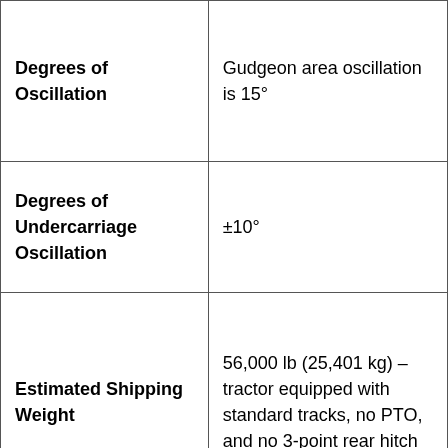| Degrees of Oscillation | Gudgeon area oscillation is 15° |
| Degrees of Undercarriage Oscillation | ±10° |
| Estimated Shipping Weight | 56,000 lb (25,401 kg) – tractor equipped with standard tracks, no PTO, and no 3-point rear hitch |